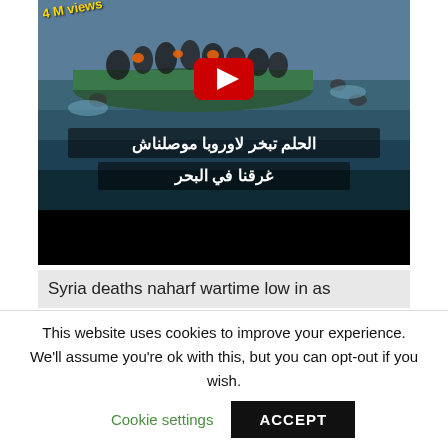[Figure (screenshot): YouTube video thumbnail showing refugees on a boat at sea with Arabic subtitle text and '4 M views' badge. Arabic text reads: الحلم تبخر لاوروبا موصلناش / غرقنا في البحر. Red YouTube play button visible.]
Syria deaths naharf wartime low in as
This website uses cookies to improve your experience. We'll assume you're ok with this, but you can opt-out if you wish. Cookie settings ACCEPT